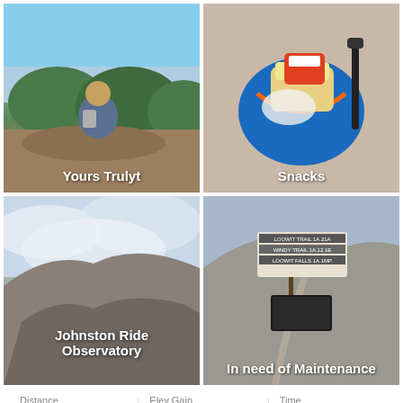[Figure (photo): Person with backpack on a mountain overlook with blue sky and forest below, labeled 'Yours Trulyt']
[Figure (photo): Open backpack with snacks and food items on rocky ground, labeled 'Snacks']
[Figure (photo): Rocky mountain landscape with cloudy sky, labeled 'Johnston Ride Observatory']
[Figure (photo): Trail sign and informational sign board on a mountain trail, labeled 'In need of Maintenance']
Distance 31.64 mi   Elev Gain 7,343 ft   Time 13h 0m
[Figure (map): Satellite/terrain map strip showing Mossyrock, Morton, and Rinde locations]